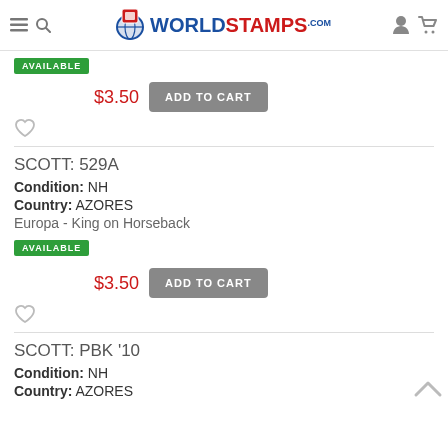WorldStamps.com
AVAILABLE
$3.50  ADD TO CART
SCOTT: 529A
Condition: NH
Country: AZORES
Europa - King on Horseback
AVAILABLE
$3.50  ADD TO CART
SCOTT: PBK '10
Condition: NH
Country: AZORES